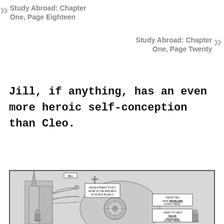Study Abroad: Chapter One, Page Eighteen
Study Abroad: Chapter One, Page Twenty
Jill, if anything, has an even more heroic self-conception than Cleo.
[Figure (illustration): Comic panel showing a detailed pencil-sketch illustration of a Gothic cathedral with flying buttresses, gargoyles, and a rose window. A character labeled 'JILL' appears. Speech bubbles read: 'DEVELOPMENT STUDY WORK IN THE REPUBLIC OF MONTE BLANCO.', 'I HEAR THEY HAVE PROBLEMS DOWN THERE.', 'I WANT TO HELP SOLVE PROBLEMS DOWN THERE.']